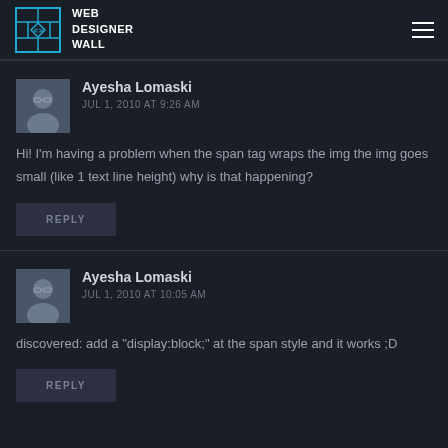WEB DESIGNER WALL
Ayesha Lomaski
JUL 1, 2010 AT 9:26 AM
Hi! I'm having a problem when the span tag wraps the img the img goes small (like 1 text line height) why is that happening?
REPLY
Ayesha Lomaski
JUL 1, 2010 AT 10:05 AM
discovered: add a "display:block;" at the span style and it works ;D
REPLY